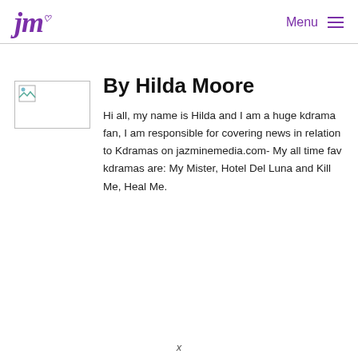jm Menu
[Figure (logo): Decorative cursive 'jm' logo in purple with a small heart symbol]
By Hilda Moore
Hi all, my name is Hilda and I am a huge kdrama fan, I am responsible for covering news in relation to Kdramas on jazminemedia.com- My all time fav kdramas are: My Mister, Hotel Del Luna and Kill Me, Heal Me.
x